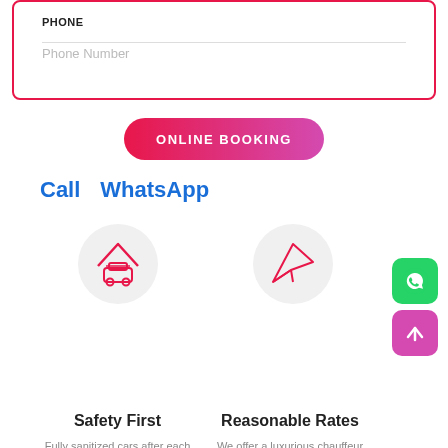PHONE
Phone Number
ONLINE BOOKING
Call   WhatsApp
[Figure (illustration): Pink car under a roof/garage icon in a light gray circle]
[Figure (illustration): Pink paper plane / send icon in a light gray circle]
[Figure (logo): Green WhatsApp logo button (rounded square)]
[Figure (illustration): Pink/purple rounded square with upward arrow icon]
Safety First
Fully sanitized cars after each journey and Chauffeur's temperature is monitored.
Reasonable Rates
We offer a luxurious chauffeur driven cab service in London at unbelievable rates.